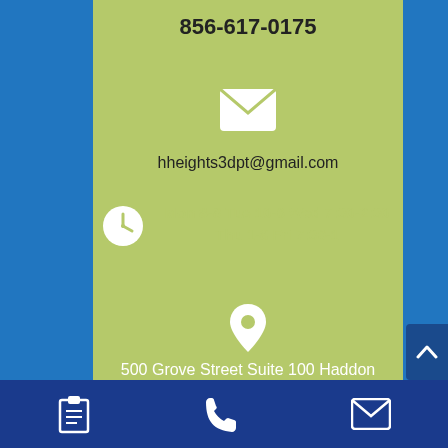856-617-0175
[Figure (illustration): White envelope/email icon]
hheights3dpt@gmail.com
[Figure (illustration): White clock icon with hours: Mon 8-8 Tue 10-6 Wed 7:30-2:30 Thu 1-8 Fri 7:30-1]
[Figure (illustration): White map pin/location icon]
500 Grove Street Suite 100 Haddon Heights, NJ 08035
[Figure (illustration): Bottom navigation bar with clipboard, phone handset, and envelope icons on dark blue background]